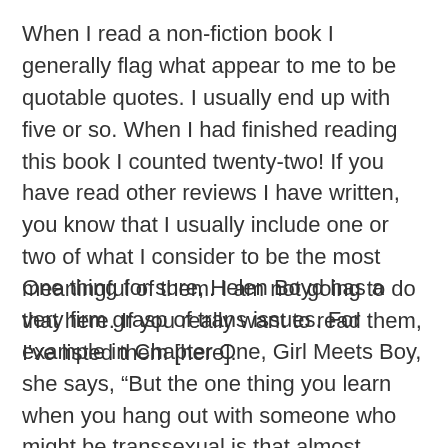When I read a non-fiction book I generally flag what appear to me to be quotable quotes. I usually end up with five or so. When I had finished reading this book I counted twenty-two! If you have read other reviews I have written, you know that I usually include one or two of what I consider to be the most meaningful of them. I am not going to do that here. If you really want to read them, I've listed them [here].
One thing for sure, Helen Boyd has a very firm grasp of trans issues. For example in Chapter One, Girl Meets Boy, she says, “But the one thing you learn when you hang out with someone who might be transsexual is that almost nothing is more important than your relationship p...